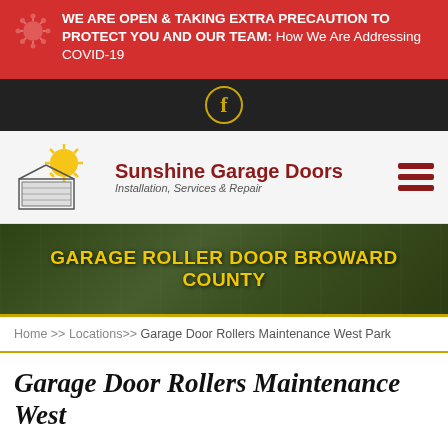WE ARE OPEN & TAKING EXTRA PRECAUTION TO PROTECT YOU AND OUR TEAM: How We Are Addressing COVID-19
[Figure (logo): Facebook icon in a circle on dark bar]
[Figure (logo): Sunshine Garage Doors logo with sun and garage illustration, text: Sunshine Garage Doors Installation, Services & Repair]
[Figure (photo): Hero banner with garage door photo background showing text: GARAGE ROLLER DOOR BROWARD COUNTY]
Home >> Locations>> Garage Door Rollers Maintenance West Park
Garage Door Rollers Maintenance West